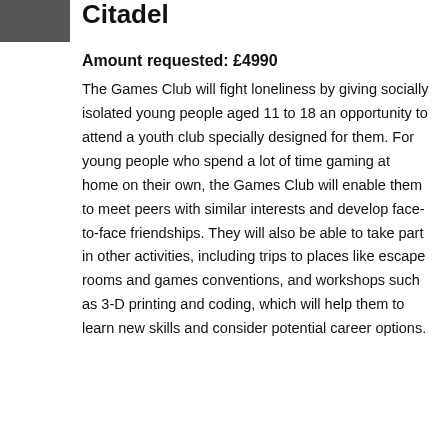[Figure (photo): Small photograph or image, partially visible at top left corner]
Citadel
Amount requested: £4990
The Games Club will fight loneliness by giving socially isolated young people aged 11 to 18 an opportunity to attend a youth club specially designed for them. For young people who spend a lot of time gaming at home on their own, the Games Club will enable them to meet peers with similar interests and develop face-to-face friendships. They will also be able to take part in other activities, including trips to places like escape rooms and games conventions, and workshops such as 3-D printing and coding, which will help them to learn new skills and consider potential career options.